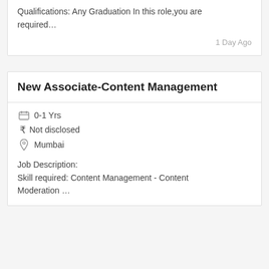Qualifications: Any Graduation In this role,you are required…
1 Day Ago
New Associate-Content Management
0-1 Yrs
Not disclosed
Mumbai
Job Description:
Skill required: Content Management - Content Moderation …